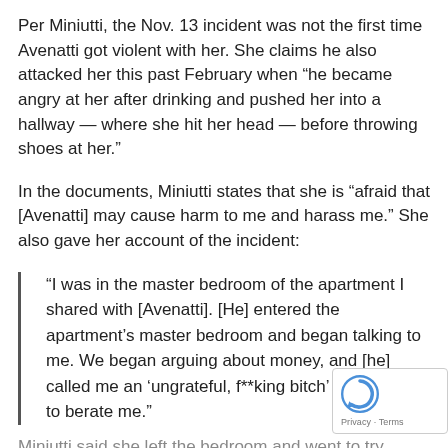Per Miniutti, the Nov. 13 incident was not the first time Avenatti got violent with her. She claims he also attacked her this past February when “he became angry at her after drinking and pushed her into a hallway — where she hit her head — before throwing shoes at her.”
In the documents, Miniutti states that she is “afraid that [Avenatti] may cause harm to me and harass me.” She also gave her account of the incident:
“I was in the master bedroom of the apartment I shared with [Avenatti]. [He] entered the apartment’s master bedroom and began talking to me. We began arguing about money, and [he] called me an ‘ungrateful, f**king bitch’ and began to berate me.”
Miniutti said she left the bedroom and went to try